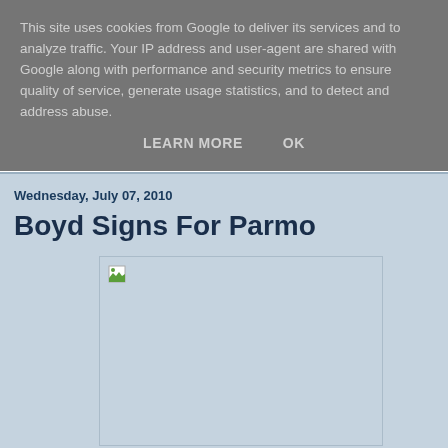This site uses cookies from Google to deliver its services and to analyze traffic. Your IP address and user-agent are shared with Google along with performance and security metrics to ensure quality of service, generate usage statistics, and to detect and address abuse.
LEARN MORE   OK
Wednesday, July 07, 2010
Boyd Signs For Parmo
[Figure (photo): A broken/unloaded image placeholder with a small broken image icon in the top-left corner]